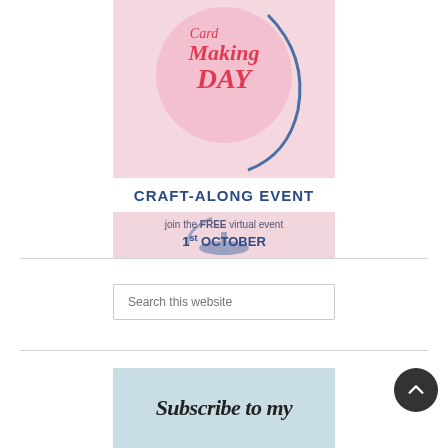[Figure (illustration): Craft-Along Event promotional banner featuring a pink globe/ball graphic with red decorative text 'Making DAY', bold dark blue text 'CRAFT-ALONG EVENT', a globe stand illustration in blue on a light pink background, and text 'join the FREE virtual event 1st OCTOBER']
[Figure (screenshot): Search bar input field with placeholder text 'Search this website']
[Figure (illustration): Light blue banner with cursive/script text beginning 'Subscribe to my']